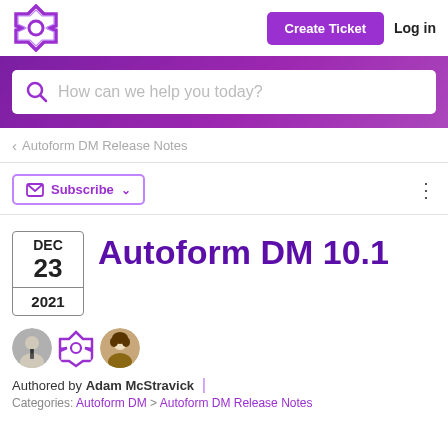Create Ticket  Log in
How can we help you today?
< Autoform DM Release Notes
Subscribe
Autoform DM 10.1
DEC 23 2021
Authored by Adam McStravick
Categories: Autoform DM > Autoform DM Release Notes